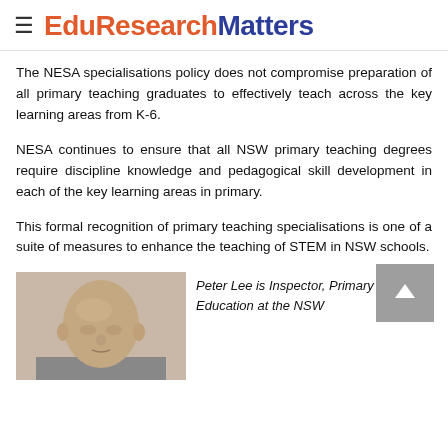EduResearchMatters
The NESA specialisations policy does not compromise preparation of all primary teaching graduates to effectively teach across the key learning areas from K-6.
NESA continues to ensure that all NSW primary teaching degrees require discipline knowledge and pedagogical skill development in each of the key learning areas in primary.
This formal recognition of primary teaching specialisations is one of a suite of measures to enhance the teaching of STEM in NSW schools.
[Figure (photo): Headshot photo of Peter Lee, a bald man]
Peter Lee is Inspector, Primary Education at the NSW